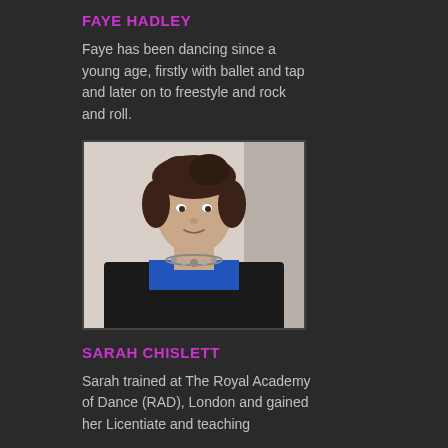FAYE HADLEY
Faye has been dancing since a young age, firstly with ballet and tap and later on to freestyle and rock and roll.
[Figure (photo): Portrait photo of a woman with curly dark hair, wearing a black cardigan and blue top with a statement necklace, against a light background.]
SARAH CHISLETT
Sarah trained at The Royal Academy of Dance (RAD), London and gained her Licentiate and teaching